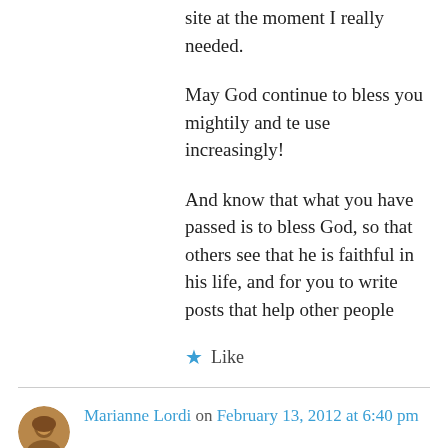site at the moment I really needed.
May God continue to bless you mightily and te use increasingly!
And know that what you have passed is to bless God, so that others see that he is faithful in his life, and for you to write posts that help other people
★ Like
Marianne Lordi on February 13, 2012 at 6:40 pm
God bless you, dear Eric. I am so glad that you stopped by. God can always make a way for you no matter how difficult the journey is. He has the power and the love to take you through every